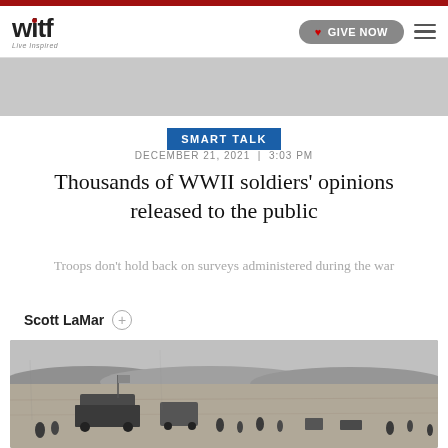witf — Live Inspired
SMART TALK
DECEMBER 21, 2021 | 3:03 PM
Thousands of WWII soldiers' opinions released to the public
Troops don't hold back on surveys administered during the war
Scott LaMar
[Figure (photo): Black and white WWII beach landing scene with soldiers, vehicles and a military truck visible on a beach with hills in the background]